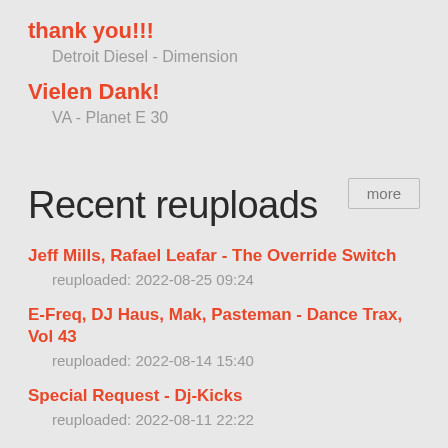thank you!!!
Detroit Diesel - Dimension
Vielen Dank!
VA - Planet E 30
more
Recent reuploads
Jeff Mills, Rafael Leafar - The Override Switch
reuploaded: 2022-08-25 09:24
E-Freq, DJ Haus, Mak, Pasteman - Dance Trax, Vol 43
reuploaded: 2022-08-14 15:40
Special Request - Dj-Kicks
reuploaded: 2022-08-11 22:22
Roman Flugel - Yes People